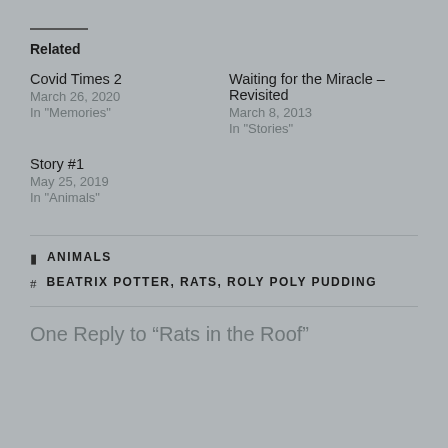Related
Covid Times 2
March 26, 2020
In "Memories"
Waiting for the Miracle – Revisited
March 8, 2013
In "Stories"
Story #1
May 25, 2019
In "Animals"
ANIMALS
BEATRIX POTTER, RATS, ROLY POLY PUDDING
One Reply to “Rats in the Roof”